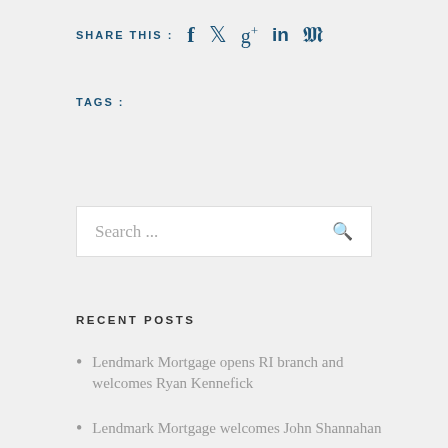SHARE THIS : f  ✦  g+  in  p
TAGS :
Search ...
RECENT POSTS
Lendmark Mortgage opens RI branch and welcomes Ryan Kennefick
Lendmark Mortgage welcomes John Shannahan